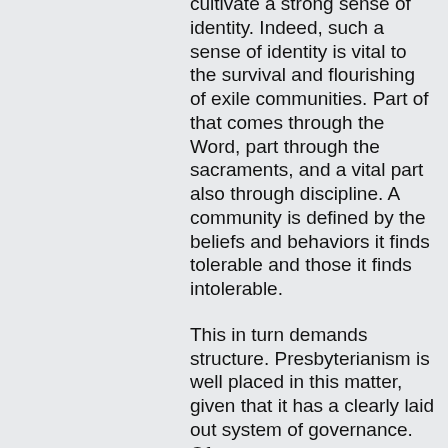cultivate a strong sense of identity. Indeed, such a sense of identity is vital to the survival and flourishing of exile communities. Part of that comes through the Word, part through the sacraments, and a vital part also through discipline. A community is defined by the beliefs and behaviors it finds tolerable and those it finds intolerable.
This in turn demands structure. Presbyterianism is well placed in this matter, given that it has a clearly laid out system of governance. Of course, systems are one thing; practicing them sti...